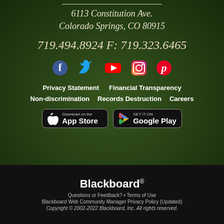6113 Constitution Ave.
Colorado Springs, CO 80915
719.494.8924 F: 719.323.6465
[Figure (infographic): Social media icons: Facebook (dark blue), Twitter (blue), YouTube (red), Instagram (pink/purple gradient), Pinterest (red)]
Privacy Statement
Financial Transparency
Non-discrimination
Records Destruction
Careers
[Figure (logo): Download on the App Store button]
[Figure (logo): GET IT ON Google Play button]
Blackboard
Questions or Feedback? • Terms of Use
Blackboard Web Community Manager Privacy Policy (Updated)
Copyright © 2002-2022 Blackboard, Inc. All rights reserved.